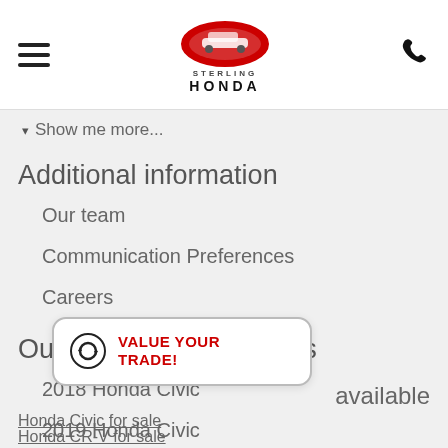Sterling Honda — navigation header with hamburger menu and phone icon
Show me more...
Additional information
Our team
Communication Preferences
Careers
Our top 10 used vehicles
2018 Honda Civic
2019 Honda Civic
2018 Honda CR-V
Show me more...
[Figure (infographic): VALUE YOUR TRADE! widget with circular arrows icon]
available
Honda Civic for sale
Honda CR-V for sale